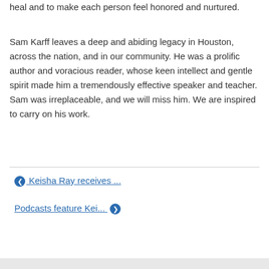heal and to make each person feel honored and nurtured.
Sam Karff leaves a deep and abiding legacy in Houston, across the nation, and in our community. He was a prolific author and voracious reader, whose keen intellect and gentle spirit made him a tremendously effective speaker and teacher. Sam was irreplaceable, and we will miss him. We are inspired to carry on his work.
❮ Keisha Ray receives ...
Podcasts feature Kei... ❯